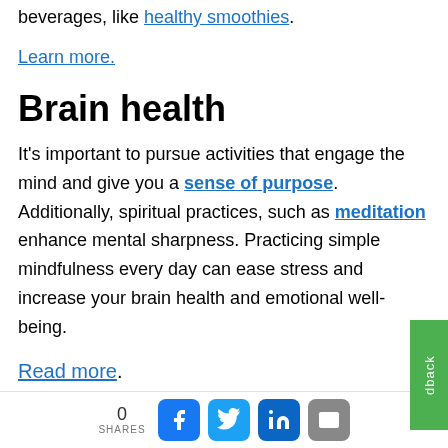beverages, like healthy smoothies.
Learn more.
Brain health
It's important to pursue activities that engage the mind and give you a sense of purpose. Additionally, spiritual practices, such as meditation enhance mental sharpness. Practicing simple mindfulness every day can ease stress and increase your brain health and emotional well-being.
Read more.
0 SHARES